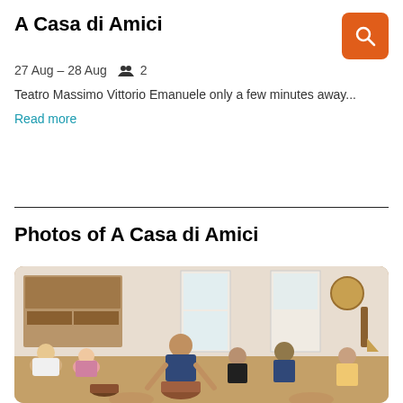A Casa di Amici
27 Aug – 28 Aug   2
Teatro Massimo Vittorio Emanuele only a few minutes away...
Read more
Photos of A Casa di Amici
[Figure (photo): Group of people sitting in a circle in a room filled with musical instruments, drums, and various objects on shelves. A bald man in a dark t-shirt leans forward in the center, appearing to play a djembe drum. Other guests watch and participate.]